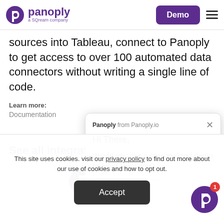panoply - a SQream company | Demo | Menu
sources into Tableau, connect to Panoply to get access to over 100 automated data connectors without writing a single line of code.
Learn more:
Documentation
See all integratio
[Figure (screenshot): Chat popup from Panoply.io: 'Hi There, Would you like a personalized demo for your company?']
This site uses cookies. visit our privacy policy to find out more about our use of cookies and how to opt out.
Accept